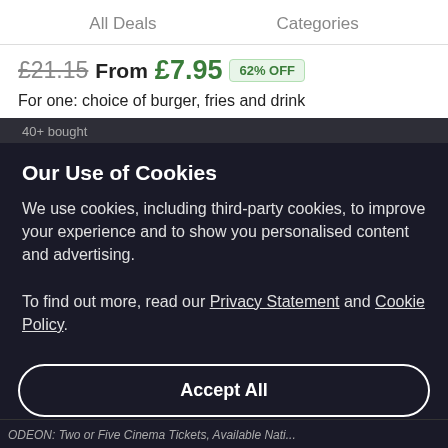All Deals    Categories
£21.15  From £7.95  62% OFF
For one: choice of burger, fries and drink
40+ bought
Our Use of Cookies
We use cookies, including third-party cookies, to improve your experience and to show you personalised content and advertising.
To find out more, read our Privacy Statement and Cookie Policy.
Accept All
Reject All
My Options
ODEON: Two or Five Cinema Tickets, Available Nati...